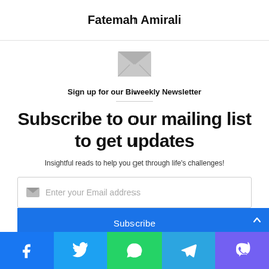Fatemah Amirali
Sign up for our Biweekly Newsletter
Subscribe to our mailing list to get updates
Insightful reads to help you get through life's challenges!
Enter your Email address
Subscribe